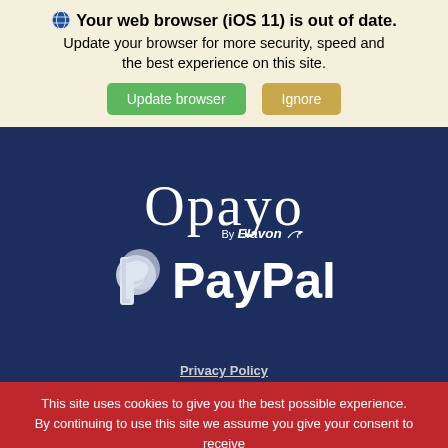🌐 Your web browser (iOS 11) is out of date. Update your browser for more security, speed and the best experience on this site.
[Figure (screenshot): Two buttons: green 'Update browser' and tan/gold 'Ignore' in a browser update notification banner]
[Figure (logo): Opayo By Elavon logo in white on dark navy blue background]
[Figure (logo): PayPal logo (P icon and PayPal text) in white on dark navy blue background]
Privacy Policy
This site uses cookies to give you the best possible experience. By continuing to use this site we assume you give your consent to receive cookies from HIS website. You can read our cookies policy here.
GOT IT